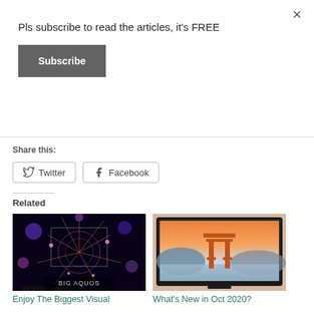Pls subscribe to read the articles, it's FREE
Subscribe
×
Share this:
Twitter
Facebook
Related
[Figure (photo): Fireworks display with glowing abstract art shown on a large screen, labeled BIG AQUOS]
Enjoy The Biggest Visual
[Figure (photo): TV screen showing a Japanese torii gate at sunset over water]
What's New in Oct 2020?